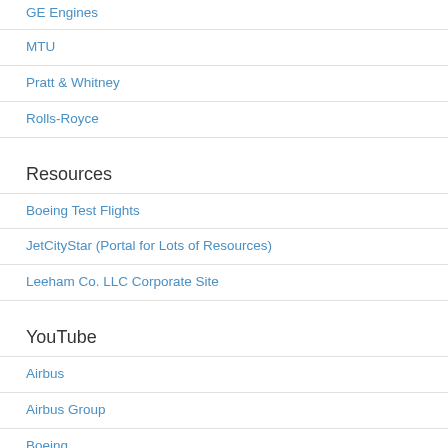GE Engines
MTU
Pratt & Whitney
Rolls-Royce
Resources
Boeing Test Flights
JetCityStar (Portal for Lots of Resources)
Leeham Co. LLC Corporate Site
YouTube
Airbus
Airbus Group
Boeing